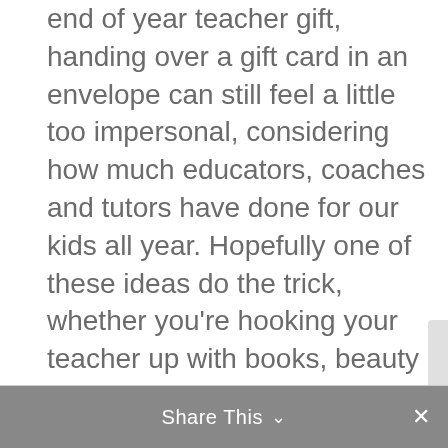end of year teacher gift, handing over a gift card in an envelope can still feel a little too impersonal, considering how much educators, coaches and tutors have done for our kids all year. Hopefully one of these ideas do the trick, whether you're hooking your teacher up with books, beauty treatments, or ....
Share This ∨  ✕